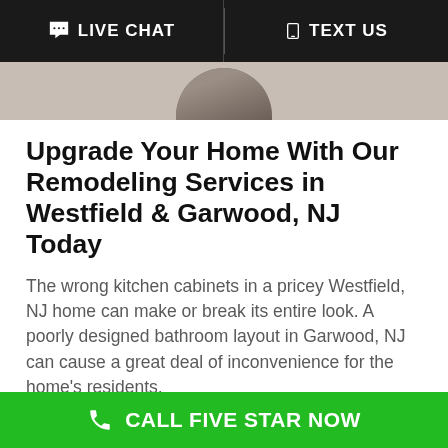LIVE CHAT   TEXT US
[Figure (photo): Partial circular photo showing a wood floor or cabinet surface, cropped at the top of the content area]
Upgrade Your Home With Our Remodeling Services in Westfield & Garwood, NJ Today
The wrong kitchen cabinets in a pricey Westfield, NJ home can make or break its entire look. A poorly designed bathroom layout in Garwood, NJ can cause a great deal of inconvenience for the home's residents.
CALL FIVE STAR NOW